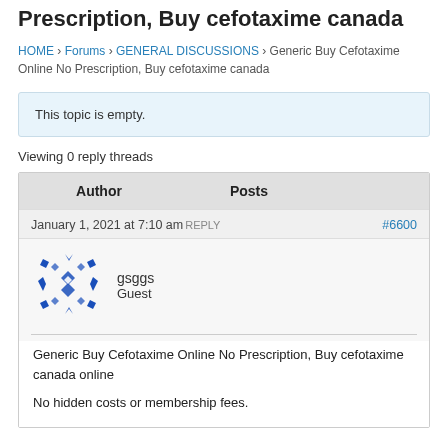Prescription, Buy cefotaxime canada
HOME › Forums › GENERAL DISCUSSIONS › Generic Buy Cefotaxime Online No Prescription, Buy cefotaxime canada
This topic is empty.
Viewing 0 reply threads
| Author | Posts |
| --- | --- |
January 1, 2021 at 7:10 amREPLY #6600
[Figure (illustration): Blue geometric avatar/icon with diamond and arrow shapes arranged in a symmetrical pattern]
gsggs
Guest
Generic Buy Cefotaxime Online No Prescription, Buy cefotaxime canada online
No hidden costs or membership fees.